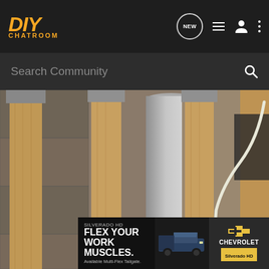[Figure (logo): DIY Chatroom logo with orange italic DIY text and CHATROOM subtitle]
NEW (message bubble icon), list icon, user icon, three-dots menu icon
Search Community
[Figure (photo): Construction framing photo showing wooden studs, metal HVAC ductwork, white wiring, and a blue electrical junction box mounted to a stud]
[Figure (photo): Advertisement banner: SILVERADO HD - FLEX YOUR WORK MUSCLES. Available Multi-Flex Tailgate. Chevrolet Silverado HD]
SILVERADO HD
FLEX YOUR WORK MUSCLES.
Available Multi-Flex Tailgate.
CHEVROLET
Silverado HD